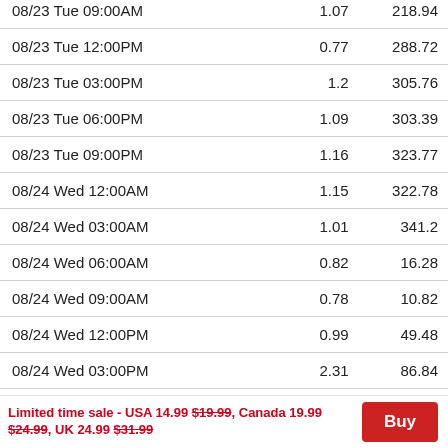| Date/Time | Col2 | Col3 |
| --- | --- | --- |
| 08/23 Tue 09:00AM | 1.07 | 218.94 |
| 08/23 Tue 12:00PM | 0.77 | 288.72 |
| 08/23 Tue 03:00PM | 1.2 | 305.76 |
| 08/23 Tue 06:00PM | 1.09 | 303.39 |
| 08/23 Tue 09:00PM | 1.16 | 323.77 |
| 08/24 Wed 12:00AM | 1.15 | 322.78 |
| 08/24 Wed 03:00AM | 1.01 | 341.2 |
| 08/24 Wed 06:00AM | 0.82 | 16.28 |
| 08/24 Wed 09:00AM | 0.78 | 10.82 |
| 08/24 Wed 12:00PM | 0.99 | 49.48 |
| 08/24 Wed 03:00PM | 2.31 | 86.84 |
| 08/24 Wed 06:00PM | 3.07 | 108.87 |
| 08/24 Wed 09:00PM | 2.95 | 132.83 |
| 08/25 Thu 12:00AM | 1.7 | 112.06 |
Limited time sale - USA 14.99 $19.99, Canada 19.99 $24.99, UK 24.99 $31.99